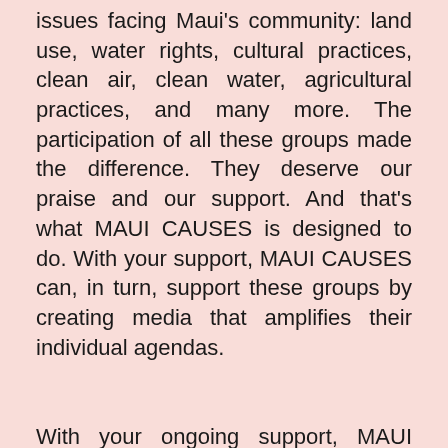issues facing Maui's community: land use, water rights, cultural practices, clean air, clean water, agricultural practices, and many more. The participation of all these groups made the difference. They deserve our praise and our support. And that's what MAUI CAUSES is designed to do. With your support, MAUI CAUSES can, in turn, support these groups by creating media that amplifies their individual agendas.
With your ongoing support, MAUI CAUSES can sustain our mission to create media for Maui's important initiatives.